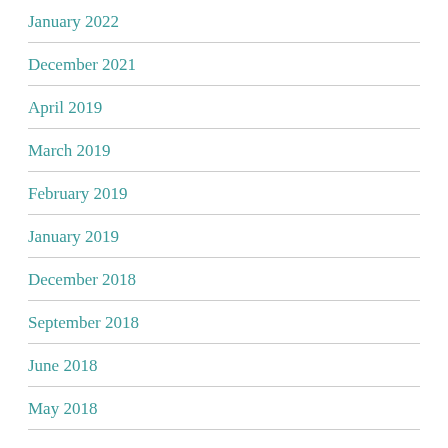January 2022
December 2021
April 2019
March 2019
February 2019
January 2019
December 2018
September 2018
June 2018
May 2018